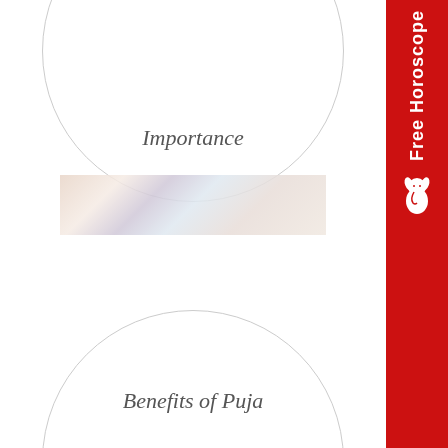[Figure (illustration): Large circle outline partially visible at the top of the page]
Importance
[Figure (photo): Blurred/soft-focus photo strip showing hands doing puja ritual, pinkish and light blue tones]
[Figure (illustration): Large circle outline partially visible at the bottom of the page]
Benefits of Puja
[Figure (logo): Red vertical sidebar with white text 'Free Horoscope' written vertically and a white Ganesha icon at the bottom]